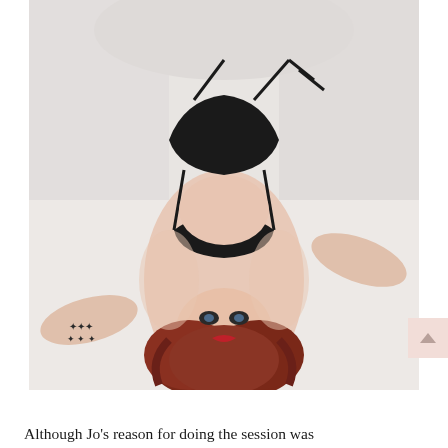[Figure (photo): A woman with long red hair wearing black lingerie, lying on white bedding. She is posed with her torso arched, head tilted back toward the camera, with visible tattoos on her wrist. Red lips and dark eye makeup.]
Although Jo's reason for doing the session was